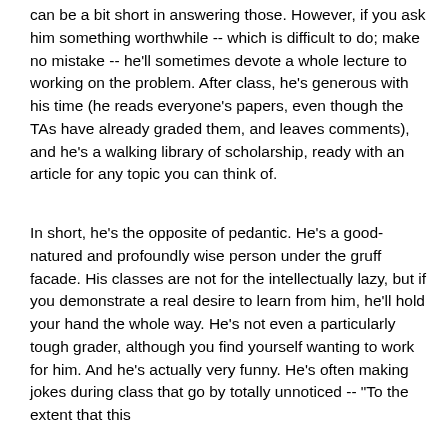can be a bit short in answering those.  However, if you ask him something worthwhile -- which is difficult to do; make no mistake -- he'll sometimes devote a whole lecture to working on the problem.  After class, he's generous with his time (he reads everyone's papers, even though the TAs have already graded them, and leaves comments), and he's a walking library of scholarship, ready with an article for any topic you can think of.
In short, he's the opposite of pedantic.  He's a good-natured and profoundly wise person under the gruff facade.  His classes are not for the intellectually lazy, but if you demonstrate a real desire to learn from him, he'll hold your hand the whole way.  He's not even a particularly tough grader, although you find yourself wanting to work for him.  And he's actually very funny.  He's often making jokes during class that go by totally unnoticed -- "To the extent that this